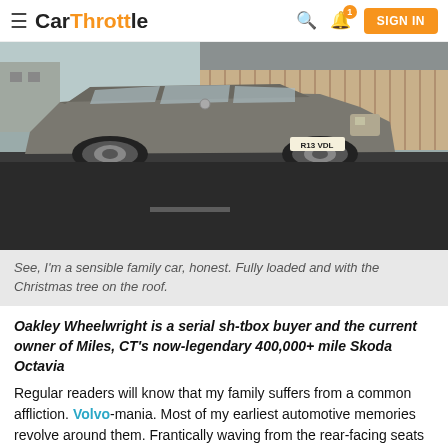CarThrottle — SIGN IN
[Figure (photo): A silver/bronze Volvo estate (station wagon) parked on a road, photographed from the front-three-quarter angle on a suburban street with a wooden fence in the background. Number plate reads R13 VDL.]
See, I'm a sensible family car, honest. Fully loaded and with the Christmas tree on the roof.
Oakley Wheelwright is a serial sh-tbox buyer and the current owner of Miles, CT's now-legendary 400,000+ mile Skoda Octavia
Regular readers will know that my family suffers from a common affliction. Volvo-mania. Most of my earliest automotive memories revolve around them. Frantically waving from the rear-facing seats and cheering with delight for every